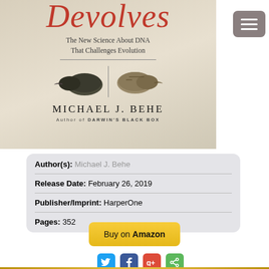[Figure (illustration): Book cover of 'Darwin Devolves' by Michael J. Behe showing the title in red italic script, subtitle 'The New Science About DNA That Challenges Evolution', two bird head illustrations, author name MICHAEL J. BEHE, and 'Author of DARWIN'S BLACK BOX']
| Author(s): | Michael J. Behe |
| Release Date: | February 26, 2019 |
| Publisher/Imprint: | HarperOne |
| Pages: | 352 |
[Figure (other): Buy on Amazon button in yellow/gold color]
[Figure (other): Social sharing icons: Twitter (blue), Facebook (dark blue), Google+ (red), Share (green)]